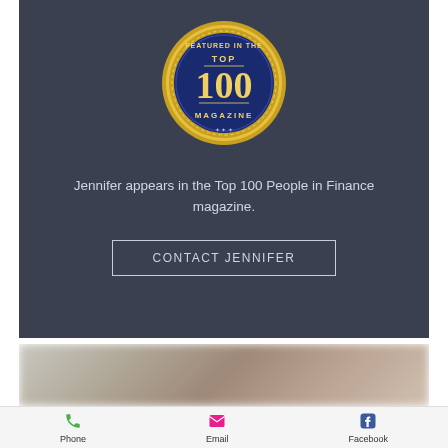[Figure (logo): Gold and blue circular badge reading 'Featured in the Top 100 Magazine']
Jennifer appears in the Top 100 People in Finance magazine.
CONTACT JENNIFER
[Figure (photo): Blurred photo of a person, partially visible]
Phone   Email   Facebook